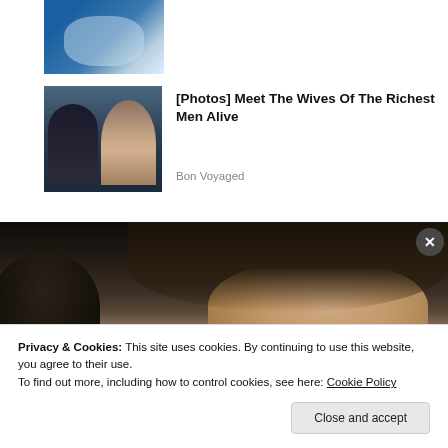[Figure (photo): Partial cropped image at top, appears to be a sports trophy or similar object on blue background]
[Figure (photo): Thumbnail photo of a man in a suit and a woman with long brown hair wearing sunglasses, seated at what appears to be a sporting event]
[Photos] Meet The Wives Of The Richest Men Alive
Bon Voyaged
[Figure (photo): Large photo showing a woman with long dark hair and sunglasses, partially obscured by a dark-headed figure in the foreground]
Privacy & Cookies: This site uses cookies. By continuing to use this website, you agree to their use.
To find out more, including how to control cookies, see here: Cookie Policy
Close and accept